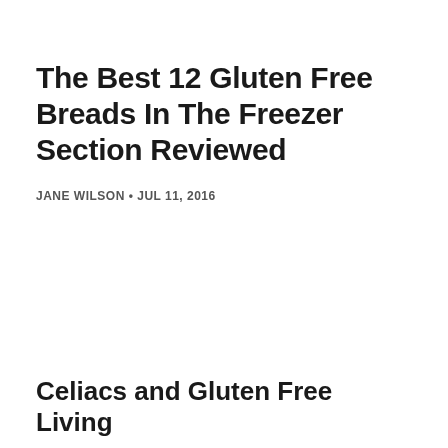The Best 12 Gluten Free Breads In The Freezer Section Reviewed
JANE WILSON • JUL 11, 2016
Celiacs and Gluten Free Living